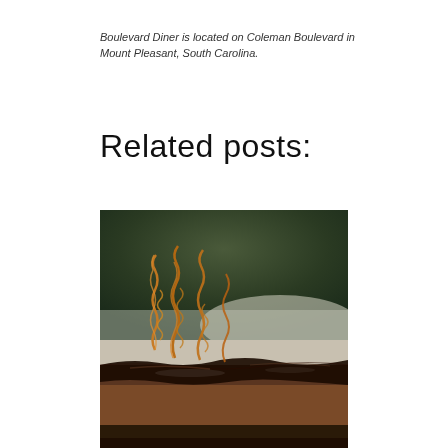Boulevard Diner is located on Coleman Boulevard in Mount Pleasant, South Carolina.
Related posts:
[Figure (photo): Close-up photo of a chocolate dessert with caramel sugar spiral decorations on top, covered in glossy dark chocolate ganache, with a blurred green background.]